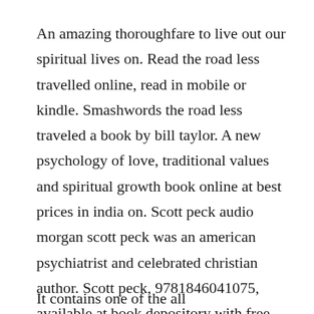An amazing thoroughfare to live out our spiritual lives on. Read the road less travelled online, read in mobile or kindle. Smashwords the road less traveled a book by bill taylor. A new psychology of love, traditional values and spiritual growth book online at best prices in india on. Scott peck audio morgan scott peck was an american psychiatrist and celebrated christian author. Scott peck, 9781846041075, available at book depository with free delivery worldwide.
It contains one of the alleirmagazines of